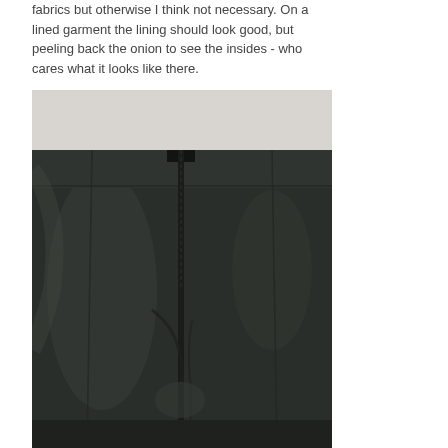fabrics but otherwise I think not necessary. On a lined garment the lining should look good, but peeling back the onion to see the insides - who cares what it looks like there.
[Figure (photo): Close-up photograph of the inside/lining of a black garment (skirt), showing a zipper opening at the top center and shiny black lining fabric with folds and wrinkles.]